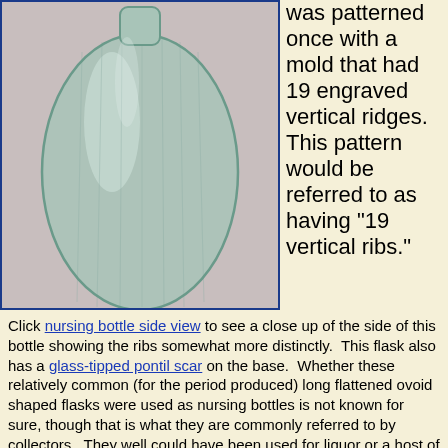[Figure (photo): Close-up photograph of a clear/aqua glass nursing bottle, ovoid shaped, showing the body of the bottle with slight ribbing visible, against a pink/white background. Blue border around the image.]
was patterned once with a mold that had 19 engraved vertical ridges. This pattern would be referred to as having "19 vertical ribs."
Click nursing bottle side view to see a close up of the side of this bottle showing the ribs somewhat more distinctly.  This flask also has a glass-tipped pontil scar on the base.  Whether these relatively common (for the period produced) long flattened ovoid shaped flasks were used as nursing bottles is not known for sure, though that is what they are commonly referred to by collectors.  They well could have been used for liquor or a host of other liquid products (McKearin & Wilson 1978; Jones & Smith 1985).
Half-post
[Figure (photo): Partial photograph of a glass bottle, showing what appears to be the base or lower portion of a dark glass bottle against a light background.]